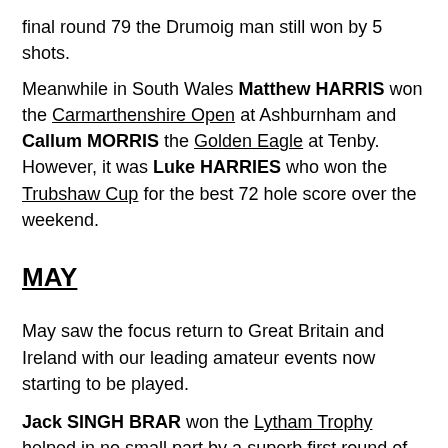final round 79 the Drumoig man still won by 5 shots.
Meanwhile in South Wales Matthew HARRIS won the Carmarthenshire Open at Ashburnham and Callum MORRIS the Golden Eagle at Tenby. However, it was Luke HARRIES who won the Trubshaw Cup for the best 72 hole score over the weekend.
MAY
May saw the focus return to Great Britain and Ireland with our leading amateur events now starting to be played.
Jack SINGH BRAR won the Lytham Trophy helped in no small part by a superb first round of 68 achieved in strong winds when the rest of the elite field struggled (CSS 79). Charlie STRICKLAND and Jake BURNAGE finished